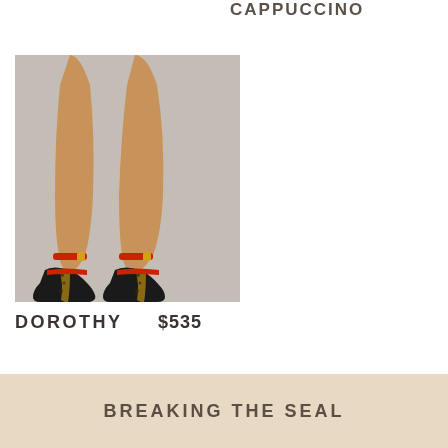CAPPUCCINO
[Figure (photo): A model's legs wearing high-heeled sandals with leopard print stiletto heels, red ankle straps with a gold buckle detail, and black toe straps. Shot against a light grey background.]
DOROTHY    $535
BREAKING THE SEAL